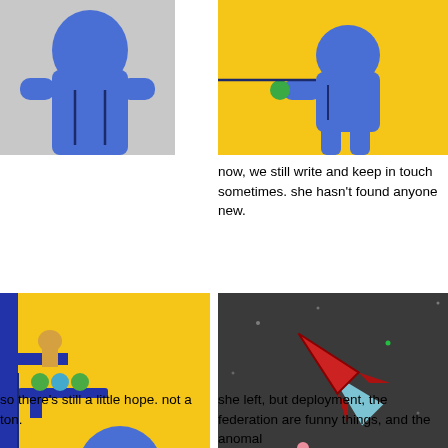[Figure (illustration): A blue cartoon character against a grey background, upper body visible, cropped panel from a comic]
[Figure (illustration): A blue cartoon character crouched on a yellow/gold background, holding something green]
now, we still write and keep in touch sometimes. she hasn't found anyone new.
[Figure (illustration): Yellow background scene with a blue robot/character holding a sphere, with colored balls on a tray and a small figure on top of machinery]
[Figure (illustration): Dark grey space background with a red rocket ship launching diagonally, with scattered dots/stars]
so there's still a little hope. not a ton.
she left, but deployment, the federation are funny things, and the anomal